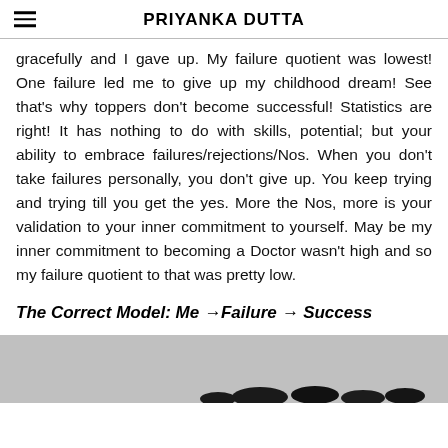PRIYANKA DUTTA
gracefully and I gave up. My failure quotient was lowest! One failure led me to give up my childhood dream! See that's why toppers don't become successful! Statistics are right! It has nothing to do with skills, potential; but your ability to embrace failures/rejections/Nos. When you don't take failures personally, you don't give up. You keep trying and trying till you get the yes. More the Nos, more is your validation to your inner commitment to yourself. May be my inner commitment to becoming a Doctor wasn't high and so my failure quotient to that was pretty low.
The Correct Model: Me →Failure → Success
[Figure (photo): Bottom of page showing dark stones/pebbles on a gray surface]